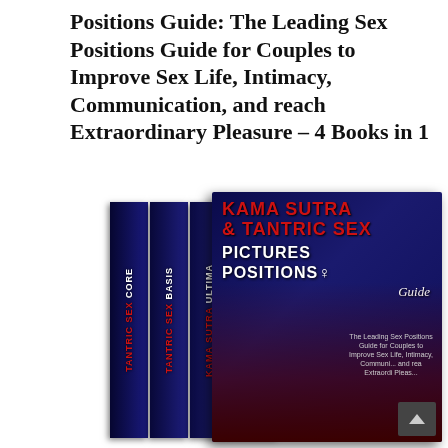Positions Guide: The Leading Sex Positions Guide for Couples to Improve Sex Life, Intimacy, Communication, and reach Extraordinary Pleasure – 4 Books in 1
[Figure (photo): Box set of 4 books showing spines labeled Tantric Sex Core, Tantric Sex Basis, Kama Sutra Ultima, Kama Sutra Essen, and a front cover showing 'Kama Sutra & Tantric Sex Pictures Positions Guide – The Leading Sex Positions Guide for Couples to Improve Sex Life, Intimacy, Communication, and reach Extraordinary Pleasure' with a dark romantic cover image]